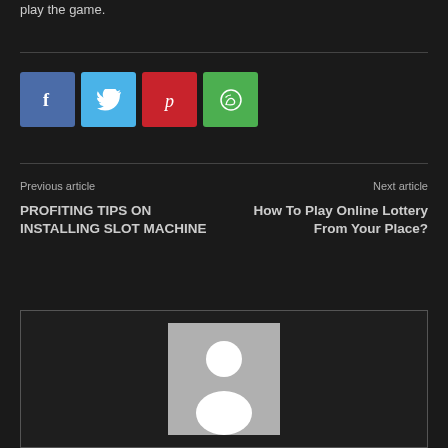play the game.
[Figure (infographic): Social sharing buttons: Facebook (blue), Twitter (light blue), Pinterest (red), WhatsApp (green)]
Previous article
PROFITING TIPS ON INSTALLING SLOT MACHINE
Next article
How To Play Online Lottery From Your Place?
[Figure (illustration): Author avatar placeholder — grey rectangle with white silhouette of a person]